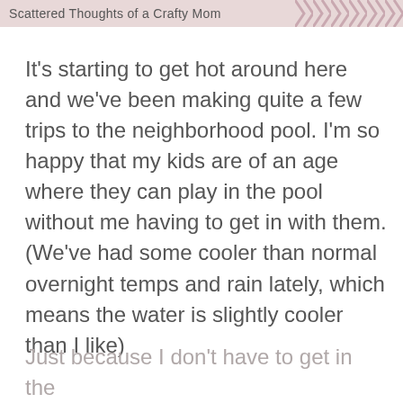Scattered Thoughts of a Crafty Mom
It's starting to get hot around here and we've been making quite a few trips to the neighborhood pool.  I'm so happy that my kids are of an age where they can play in the pool without me having to get in with them.  (We've had some cooler than normal overnight temps and rain lately, which means the water is slightly cooler than I like)
Just because I don't have to get in the